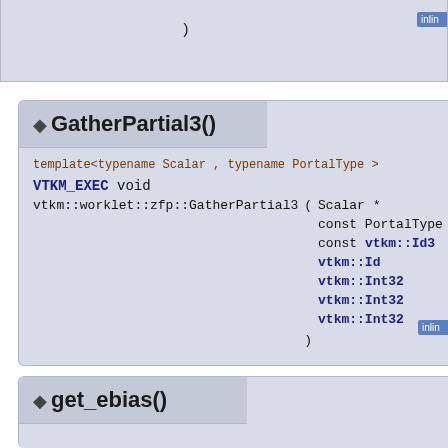)
◆ GatherPartial3()
template<typename Scalar , typename PortalType >
VTKM_EXEC void
vtkm::worklet::zfp::GatherPartial3 ( Scalar * q, const PortalType & scalars, const vtkm::Id3 dims, vtkm::Id offset, vtkm::Int32 nx, vtkm::Int32 ny, vtkm::Int32 nz )
◆ get_ebias()